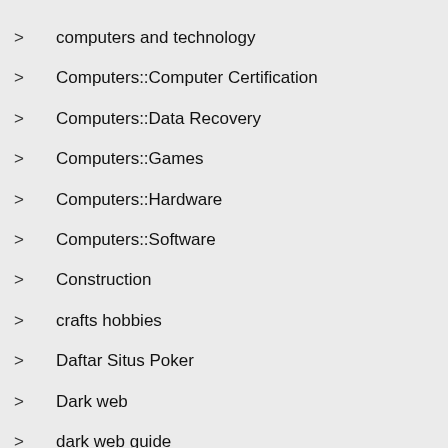> computers and technology
> Computers::Computer Certification
> Computers::Data Recovery
> Computers::Games
> Computers::Hardware
> Computers::Software
> Construction
> crafts hobbies
> Daftar Situs Poker
> Dark web
> dark web guide
> database keywords